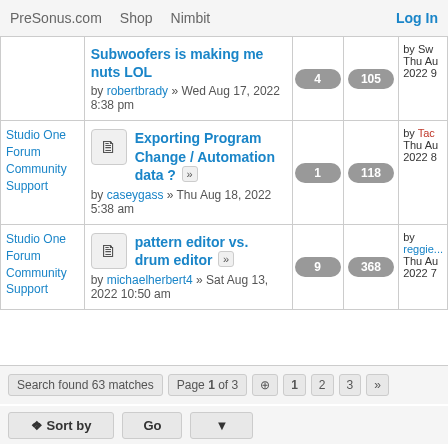PreSonus.com  Shop  Nimbit  Log In
| Category | Topic | Replies | Views | Last Post |
| --- | --- | --- | --- | --- |
|  | Subwoofers is making me nuts LOL — by robertbrady » Wed Aug 17, 2022 8:38 pm | 4 | 105 | by Swi... Thu Au... 2022 9... |
| Studio One Forum Community Support | Exporting Program Change / Automation data ? — by caseygass » Thu Aug 18, 2022 5:38 am | 1 | 118 | by Tac... Thu Au... 2022 8... |
| Studio One Forum Community Support | pattern editor vs. drum editor — by michaelherbert4 » Sat Aug 13, 2022 10:50 am | 9 | 368 | by reggie... Thu Au... 2022 7... |
Search found 63 matches  Page 1 of 3  1  2  3  »
⬆ Sort by  Go